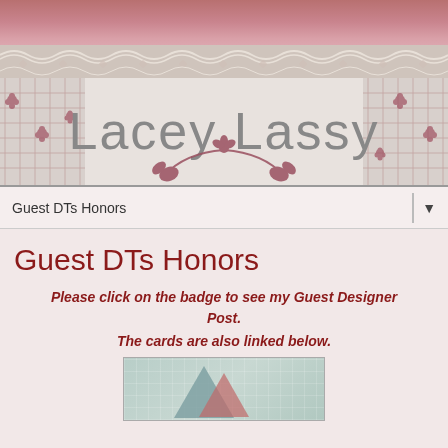[Figure (illustration): Lacey Lassy blog header banner with dusty rose top strip, lace band, floral side decorations, and large gray text reading 'Lacey Lassy' on a light gray/silver background]
Guest DTs Honors
Guest DTs Honors
Please click on the badge to see my Guest Designer Post.
The cards are also linked below.
[Figure (photo): Partial view of a card with teal/mint geometric pattern background and colorful triangle shapes]